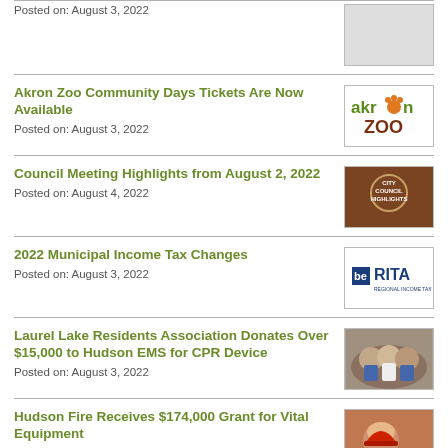Akron Zoo Community Days Tickets Are Now Available
Posted on: August 3, 2022
[Figure (logo): Akron Zoo logo with orange paw print replacing the 'o' in Akron, green text 'akron' and brown 'ZOO']
Council Meeting Highlights from August 2, 2022
Posted on: August 4, 2022
[Figure (photo): Dark brown background with circular emblem and text 'CITY COUNCIL HIGHLIGHTS']
2022 Municipal Income Tax Changes
Posted on: August 3, 2022
[Figure (logo): RITA Regional Income Tax Agency logo with blue rectangle icon and blue text]
Laurel Lake Residents Association Donates Over $15,000 to Hudson EMS for CPR Device
Posted on: August 3, 2022
[Figure (photo): Group of people posing indoors, likely EMS personnel and donors]
Hudson Fire Receives $174,000 Grant for Vital Equipment